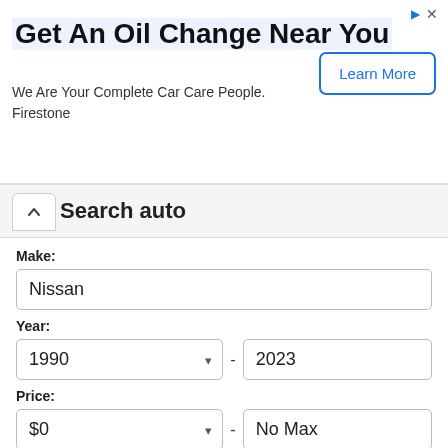[Figure (screenshot): Advertisement banner for Firestone oil change service with 'Learn More' button]
Get An Oil Change Near You
We Are Your Complete Car Care People.
Firestone
Search auto
Make:
Nissan
Year:
1990 - 2023
Price:
$0 - No Max
Per Page:
30
Sort: